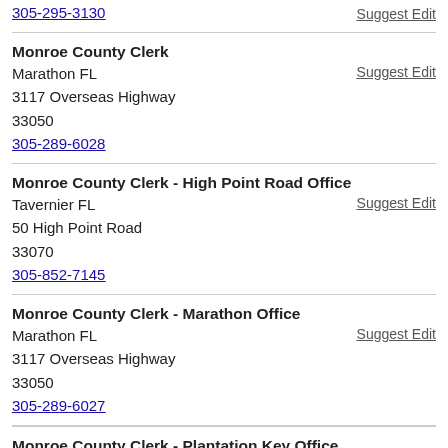305-295-3130   Suggest Edit
Monroe County Clerk
Marathon FL
3117 Overseas Highway
33050
305-289-6028   Suggest Edit
Monroe County Clerk - High Point Road Office
Tavernier FL
50 High Point Road
33070
305-852-7145   Suggest Edit
Monroe County Clerk - Marathon Office
Marathon FL
3117 Overseas Highway
33050
305-289-6027   Suggest Edit
Monroe County Clerk - Plantation Key Office